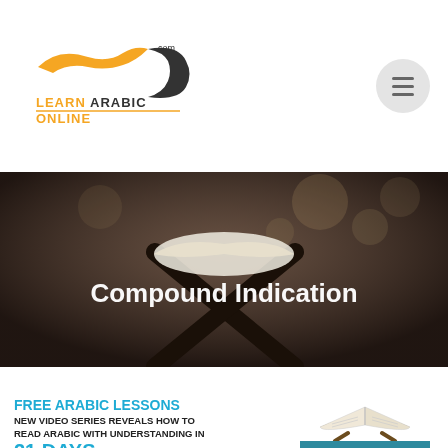[Figure (logo): LearnArabicOnline.com logo with orange bird/wave graphic and dark letter C]
[Figure (illustration): Hamburger menu icon in a light gray circle]
[Figure (photo): Dark brown toned photo of an open Quran on a wooden stand, used as hero banner background]
Compound Indication
[Figure (infographic): Advertisement block: FREE ARABIC LESSONS - NEW VIDEO SERIES REVEALS HOW TO READ ARABIC WITH UNDERSTANDING IN 21 DAYS, with open book illustration and CLICK HERE button]
Compound Indication